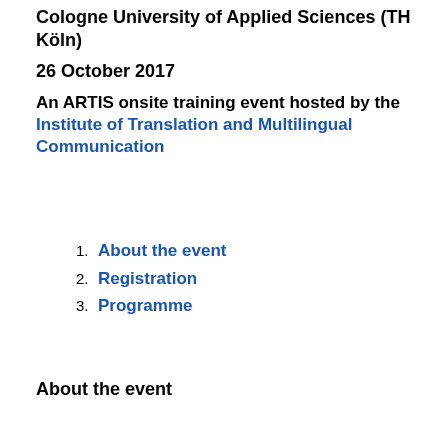Cologne University of Applied Sciences (TH Köln)
26 October 2017
An ARTIS onsite training event hosted by the Institute of Translation and Multilingual Communication
About the event
Registration
Programme
About the event